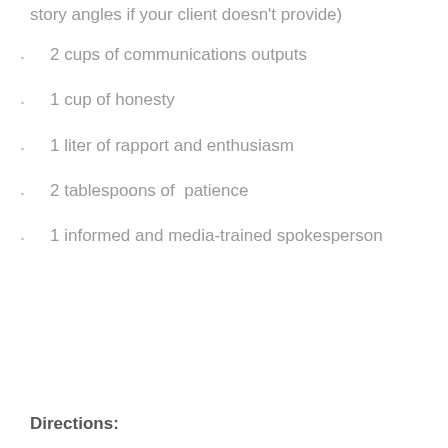story angles if your client doesn't provide)
2 cups of communications outputs
1 cup of honesty
1 liter of rapport and enthusiasm
2 tablespoons of  patience
1 informed and media-trained spokesperson
Directions: